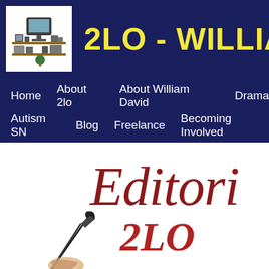2LO - WILLIAM DAV
[Figure (illustration): Small illustration of media/broadcasting equipment on shelves]
Home   About 2lo   About William David   Drama   Autism SN   Blog   Freelance   Becoming Involved
Editorial
2LO
[Figure (illustration): Hand holding a quill pen, black and white engraving style illustration]
2lo use cookies (and gather certain personal information) to provide you with a better online experience. By visiting the 2lo website you accept 2lo terms.